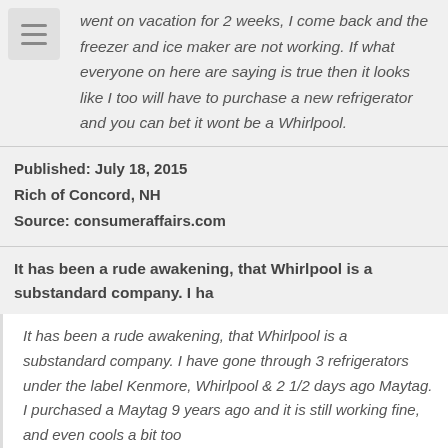went on vacation for 2 weeks, I come back and the freezer and ice maker are not working. If what everyone on here are saying is true then it looks like I too will have to purchase a new refrigerator and you can bet it wont be a Whirlpool.
Published: July 18, 2015
Rich of Concord, NH
Source: consumeraffairs.com
It has been a rude awakening, that Whirlpool is a substandard company. I ha
It has been a rude awakening, that Whirlpool is a substandard company. I have gone through 3 refrigerators under the label Kenmore, Whirlpool & 2 1/2 days ago Maytag. I purchased a Maytag 9 years ago and it is still working fine, and even cools a bit too